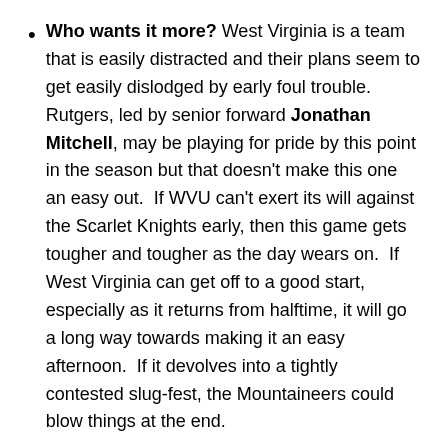Who wants it more? West Virginia is a team that is easily distracted and their plans seem to get easily dislodged by early foul trouble.  Rutgers, led by senior forward Jonathan Mitchell, may be playing for pride by this point in the season but that doesn't make this one an easy out.  If WVU can't exert its will against the Scarlet Knights early, then this game gets tougher and tougher as the day wears on.  If West Virginia can get off to a good start, especially as it returns from halftime, it will go a long way towards making it an easy afternoon.  If it devolves into a tightly contested slug-fest, the Mountaineers could blow things at the end.
What's in it with a win? While this game could be a trap loss for the 'Eers, a win goes a long way towards making people breathe easier as the team